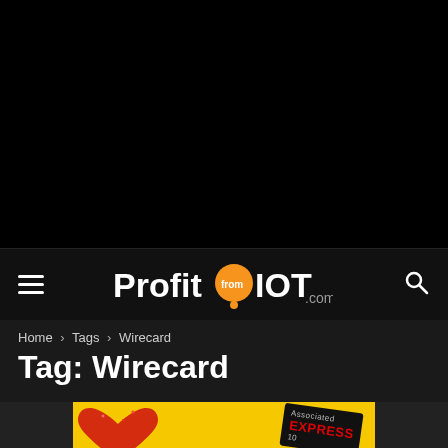[Figure (logo): ProfitFromIOT.com website logo with orange circle containing 'from' text]
Home › Tags › Wirecard
Tag: Wirecard
[Figure (photo): Yellow advertisement banner for Daily Express with red heart and magazine cover]